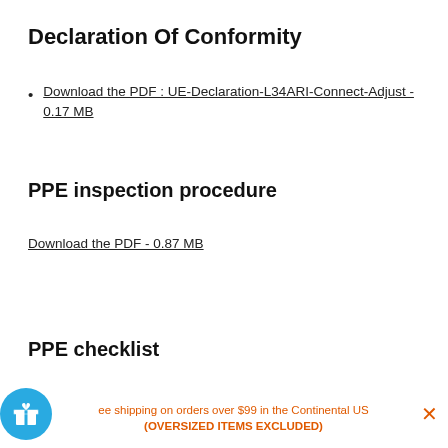Declaration Of Conformity
Download the PDF : UE-Declaration-L34ARI-Connect-Adjust - 0.17 MB
PPE inspection procedure
Download the PDF - 0.87 MB
PPE checklist
Download the PDF - 0.15 MB
Free shipping on orders over $99 in the Continental US (OVERSIZED ITEMS EXCLUDED)